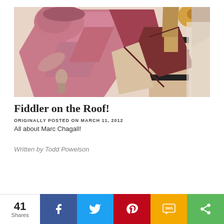[Figure (illustration): Cubist-style painting by Marc Chagall depicting a fiddler, with geometric shapes in pink, red, tan and dark tones]
Fiddler on the Roof!
ORIGINALLY POSTED ON MARCH 11, 2012
All about Marc Chagall!
Written by Todd Powelson
[Figure (photo): Bottom strip showing another image (partially visible)]
41 Shares